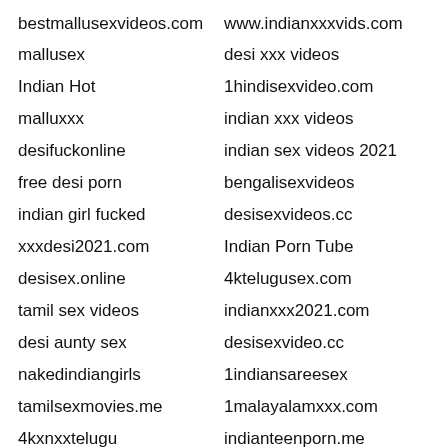bestmallusexvideos.com
www.indianxxxvids.com
mallusex
desi xxx videos
Indian Hot
1hindisexvideo.com
malluxxx
indian xxx videos
desifuckonline
indian sex videos 2021
free desi porn
bengalisexvideos
indian girl fucked
desisexvideos.cc
xxxdesi2021.com
Indian Porn Tube
desisex.online
4ktelugusex.com
tamil sex videos
indianxxx2021.com
desi aunty sex
desisexvideo.cc
nakedindiangirls
1indiansareesex
tamilsexmovies.me
1malayalamxxx.com
4kxnxxtelugu
indianteenporn.me